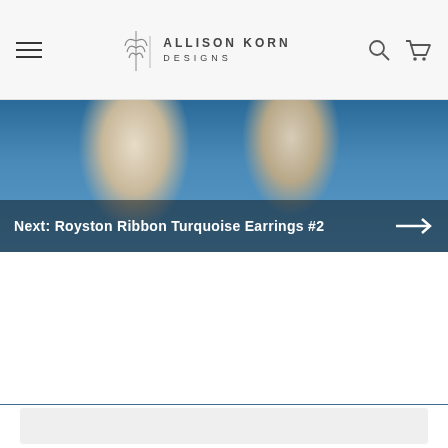Allison Korn Designs — navigation header with hamburger menu, logo, search and cart icons
[Figure (photo): Close-up photo of two teardrop-shaped silver earrings with Royston Ribbon Turquoise stones set against a blue background. Text overlay reads: Next: Royston Ribbon Turquoise Earrings #2 with right arrow.]
[Figure (photo): Photo of a hand holding multiple silver gemstone jewelry pendant pieces with various colorful stones (turquoise, lapis, pink, white, yellow). Text overlay reads: Back to Gemstone Jewelry with left arrow.]